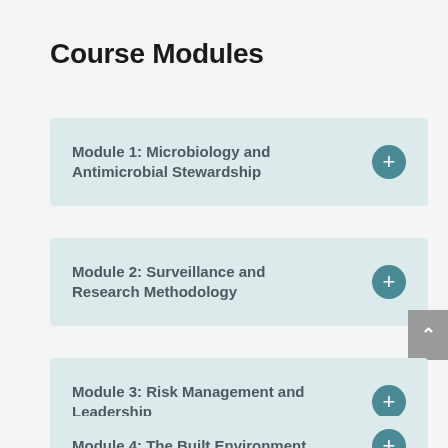Course Modules
Module 1: Microbiology and Antimicrobial Stewardship
Module 2: Surveillance and Research Methodology
Module 3: Risk Management and Leadership
Module 4: The Built Environment